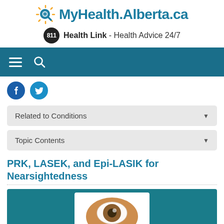MyHealth.Alberta.ca
811 Health Link - Health Advice 24/7
[Figure (screenshot): Navigation bar with hamburger menu and search icon on teal/dark blue background]
[Figure (infographic): Social media icons: Facebook and Twitter circular buttons]
Related to Conditions
Topic Contents
PRK, LASEK, and Epi-LASIK for Nearsightedness
[Figure (photo): Medical illustration of a human eye on teal background]